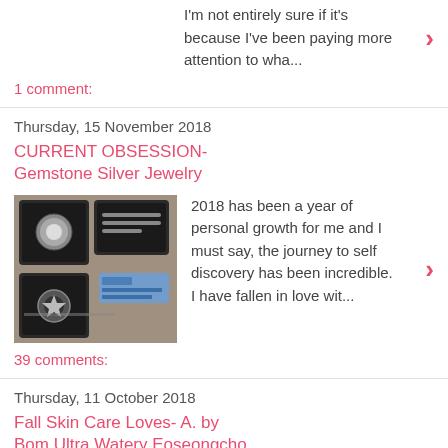I'm not entirely sure if it's because I've been paying more attention to wha...
1 comment:
Thursday, 15 November 2018
CURRENT OBSESSION- Gemstone Silver Jewelry
2018 has been a year of personal growth for me and I must say, the journey to self discovery has been incredible. I have fallen in love wit...
39 comments:
Thursday, 11 October 2018
Fall Skin Care Loves- A. by Bom Ultra Watery Eoseongcho
A couple posts back I gave you some tips on how to keep your skin in tip top shape for the fall. Your skin needs some extra loving in the c...